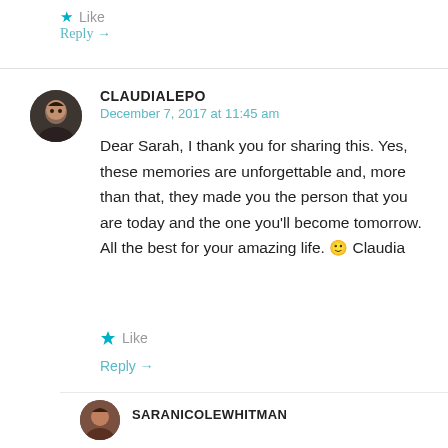Like
Reply →
CLAUDIALEPO
December 7, 2017 at 11:45 am
Dear Sarah, I thank you for sharing this. Yes, these memories are unforgettable and, more than that, they made you the person that you are today and the one you'll become tomorrow. All the best for your amazing life. 🙂 Claudia
Like
Reply →
SARANICOLEWHITMAN